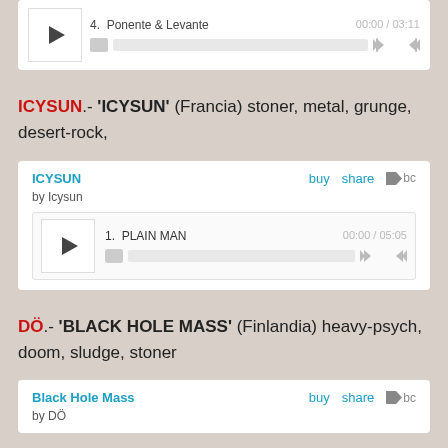[Figure (screenshot): Music player widget showing track 4. Ponente & Levante, time 00:00 / 03:11]
ICYSUN.- 'ICYSUN' (Francia) stoner, metal, grunge, desert-rock,
[Figure (screenshot): Bandcamp music player for ICYSUN by Icysun, track 1. PLAIN MAN, time 00:00 / 05:05]
DÖ.- 'BLACK HOLE MASS' (Finlandia) heavy-psych, doom, sludge, stoner
[Figure (screenshot): Bandcamp music player for Black Hole Mass by DÖ]